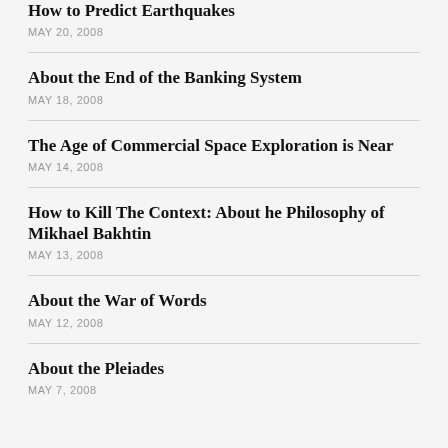How to Predict Earthquakes
MAY 20, 2008
About the End of the Banking System
MAY 18, 2008
The Age of Commercial Space Exploration is Near
MAY 14, 2008
How to Kill The Context: About he Philosophy of Mikhael Bakhtin
MAY 13, 2008
About the War of Words
MAY 12, 2008
About the Pleiades
MAY 7, 2008